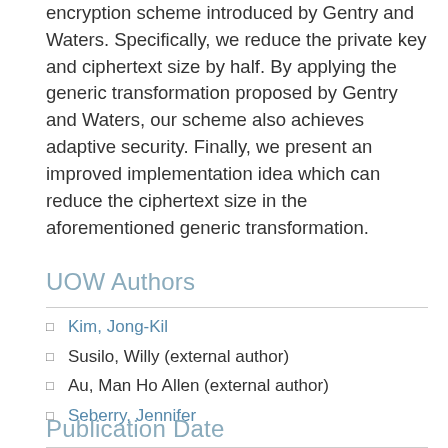encryption scheme introduced by Gentry and Waters. Specifically, we reduce the private key and ciphertext size by half. By applying the generic transformation proposed by Gentry and Waters, our scheme also achieves adaptive security. Finally, we present an improved implementation idea which can reduce the ciphertext size in the aforementioned generic transformation.
UOW Authors
Kim, Jong-Kil
Susilo, Willy (external author)
Au, Man Ho Allen (external author)
Seberry, Jennifer
Publication Date